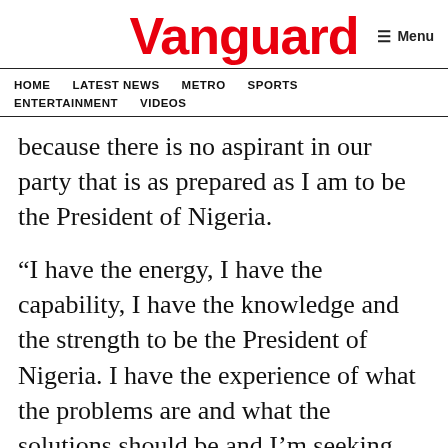Vanguard   ☰ Menu
HOME   LATEST NEWS   METRO   SPORTS   ENTERTAINMENT   VIDEOS
because there is no aspirant in our party that is as prepared as I am to be the President of Nigeria.
“I have the energy, I have the capability, I have the knowledge and the strength to be the President of Nigeria. I have the experience of what the problems are and what the solutions should be and I’m seeking your support to provide solutions to those problems.